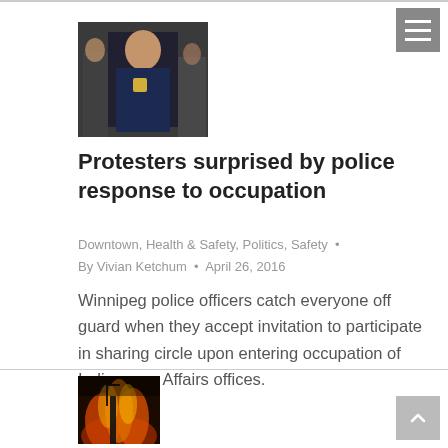[Figure (photo): Photo of a police officer in uniform]
Protesters surprised by police response to occupation
Downtown, Health & Safety, Politics, Safety • By Vivian Ketchum • April 26, 2016
Winnipeg police officers catch everyone off guard when they accept invitation to participate in sharing circle upon entering occupation of Indigenous Affairs offices.
[Figure (photo): Photo with fire/flames in background]